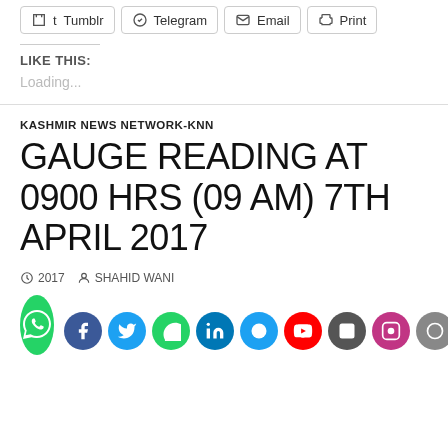[Figure (other): Share buttons row: Tumblr, Telegram, Email, Print]
LIKE THIS:
Loading...
KASHMIR NEWS NETWORK-KNN
GAUGE READING AT 0900 HRS (09 AM) 7TH APRIL 2017
2017   SHAHID WANI
[Figure (other): WhatsApp share button (green circle with phone icon) and row of social media share icons at the bottom]